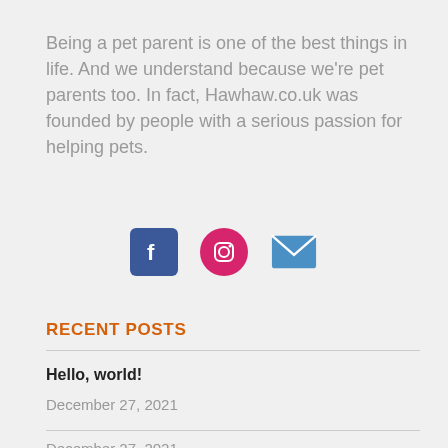Being a pet parent is one of the best things in life. And we understand because we're pet parents too. In fact, Hawhaw.co.uk was founded by people with a serious passion for helping pets.
[Figure (infographic): Three social media icons: Facebook (blue rounded square), Instagram (pink/red circle), and Email (blue envelope)]
RECENT POSTS
Hello, world!
December 27, 2021
December 27, 2021